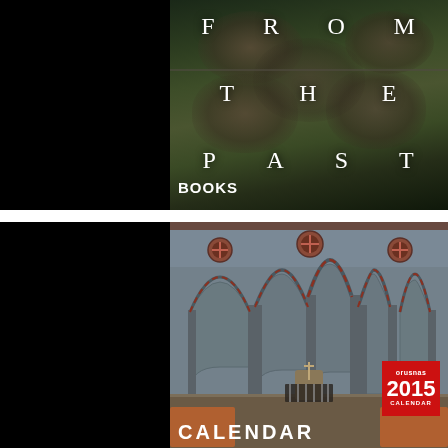[Figure (photo): Book cover titled 'FROM THE PAST' with vintage sepia-toned photographs of multiple faces overlaid with large spaced white letters forming the title words across three rows.]
BOOKS
[Figure (photo): Calendar cover showing the interior of a stone church with arched columns in Byzantine style, with a red badge showing 'orusnas 2015 CALENDAR' in the lower right.]
CALENDAR